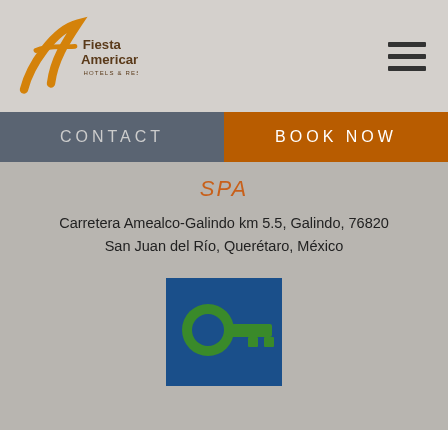Fiesta Americana Hotels & Resorts
CONTACT | BOOK NOW
SPA
Carretera Amealco-Galindo km 5.5, Galindo, 76820
San Juan del Río, Querétaro, México
[Figure (logo): Green key on blue background — hotel concierge key logo]
We use cook on this site
[Figure (other): Accept all button (orange cookie consent button)]